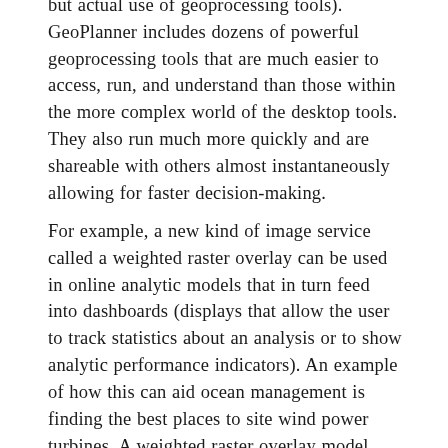but actual use of geoprocessing tools). GeoPlanner includes dozens of powerful geoprocessing tools that are much easier to access, run, and understand than those within the more complex world of the desktop tools. They also run much more quickly and are shareable with others almost instantaneously allowing for faster decision-making.
For example, a new kind of image service called a weighted raster overlay can be used in online analytic models that in turn feed into dashboards (displays that allow the user to track statistics about an analysis or to show analytic performance indicators). An example of how this can aid ocean management is finding the best places to site wind power turbines. A weighted raster overlay model using depth, bathymetric slope, distance from ports, and other relevant layers can weight layers (up to